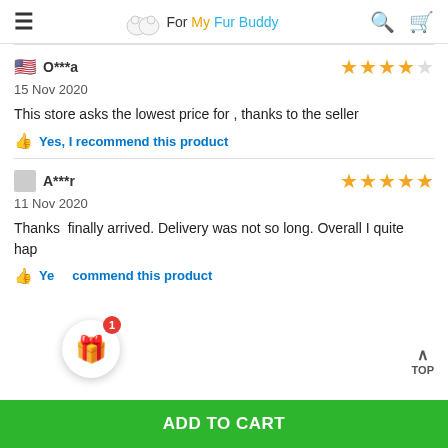For My Fur Buddy
O***a | 15 Nov 2020 | 4 stars | This store asks the lowest price for , thanks to the seller | Yes, I recommend this product
A***r | 11 Nov 2020 | 5 stars | Thanks finally arrived. Delivery was not so long. Overall I quite hap... | Yes, I recommend this product